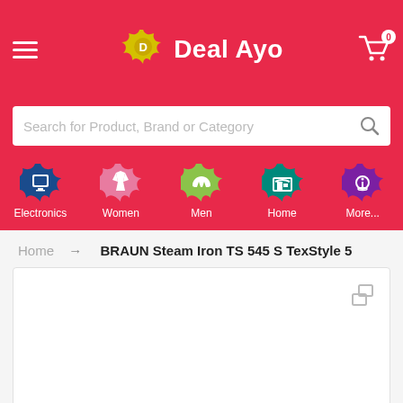[Figure (screenshot): Deal Ayo e-commerce app header with logo, hamburger menu, and cart icon on red background]
[Figure (screenshot): Search bar with placeholder text 'Search for Product, Brand or Category' and magnifying glass icon]
[Figure (screenshot): Navigation bar with category icons: Electronics, Women, Men, Home, More...]
Home → BRAUN Steam Iron TS 545 S TexStyle 5
[Figure (photo): Product image area (white box) for BRAUN Steam Iron TS 545 S TexStyle 5 with expand icon]
[Figure (other): Floating cart button (red circle with basket icon) and scroll-to-top button (yellow with up arrow)]